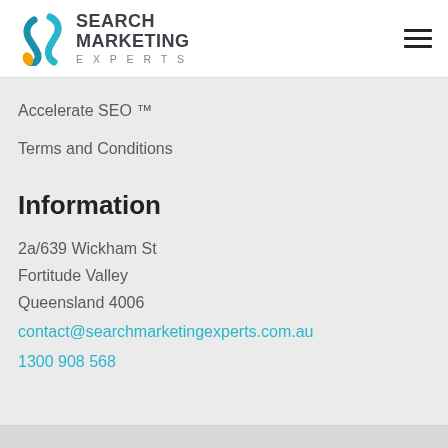[Figure (logo): Search Marketing Experts logo with stylized S icon in blue and orange, and text 'SEARCH MARKETING EXPERTS']
Accelerate SEO ™
Terms and Conditions
Information
2a/639 Wickham St
Fortitude Valley
Queensland 4006
contact@searchmarketingexperts.com.au
1300 908 568